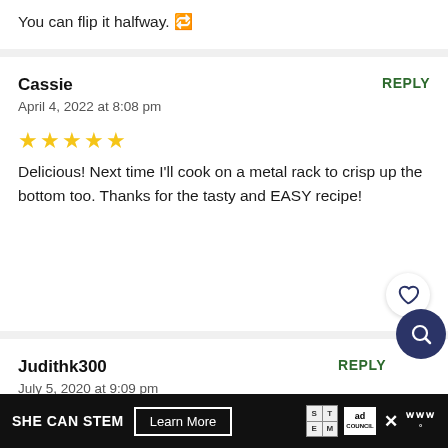You can flip it halfway. 🔁
Cassie
REPLY
April 4, 2022 at 8:08 pm
★★★★★
Delicious! Next time I'll cook on a metal rack to crisp up the bottom too. Thanks for the tasty and EASY recipe!
Judithk300
REPLY
July 5, 2020 at 9:09 pm
SHE CAN STEM  Learn More  [ad logos]